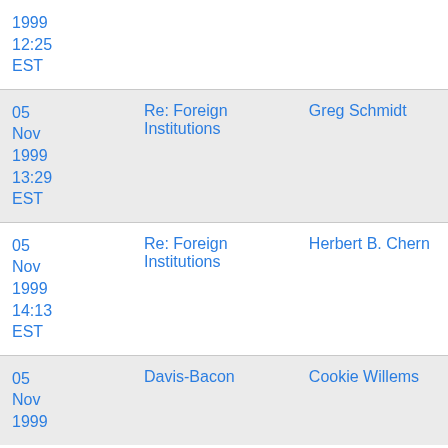| Date | Subject | From |
| --- | --- | --- |
| 05 Nov 1999 12:25 EST |  |  |
| 05 Nov 1999 13:29 EST | Re: Foreign Institutions | Greg Schmidt |
| 05 Nov 1999 14:13 EST | Re: Foreign Institutions | Herbert B. Chern |
| 05 Nov 1999 | Davis-Bacon | Cookie Willems |